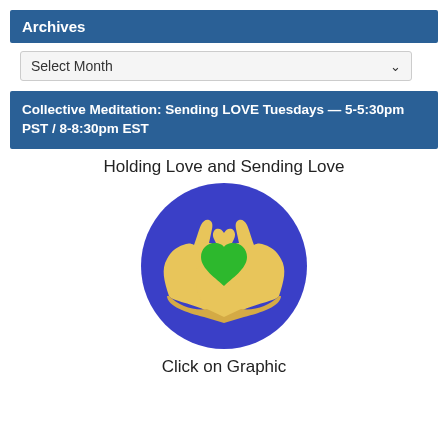Archives
Select Month
Collective Meditation: Sending LOVE Tuesdays — 5-5:30pm PST / 8-8:30pm EST
Holding Love and Sending Love
[Figure (illustration): Blue circle with two golden/yellow hands forming a heart shape, containing a green heart in the center]
Click on Graphic